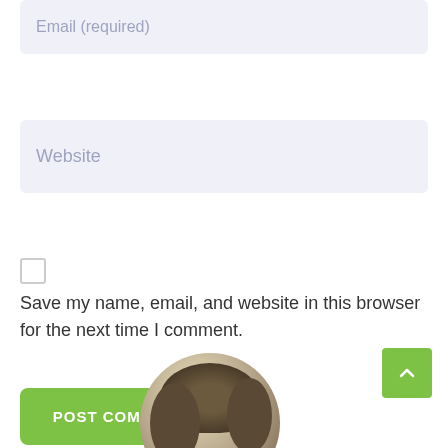Email (required)
Website
Save my name, email, and website in this browser for the next time I comment.
POST COMMENT
[Figure (screenshot): Scroll to top button (green square with upward chevron arrow) in bottom right corner]
[Figure (photo): Circular avatar photo showing a person with curly/wavy hair, partially visible at the bottom of the page]